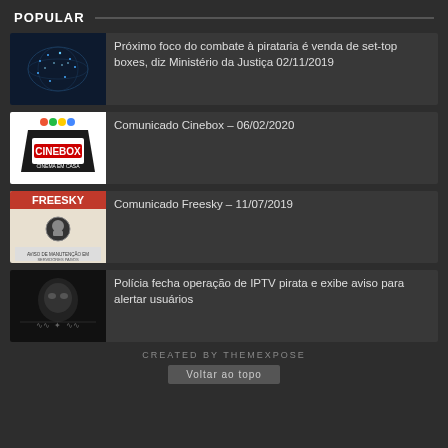POPULAR
Próximo foco do combate à pirataria é venda de set-top boxes, diz Ministério da Justiça 02/11/2019
Comunicado Cinebox – 06/02/2020
Comunicado Freesky – 11/07/2019
Polícia fecha operação de IPTV pirata e exibe aviso para alertar usuários
CREATED BY THEMEXPOSE
Voltar ao topo